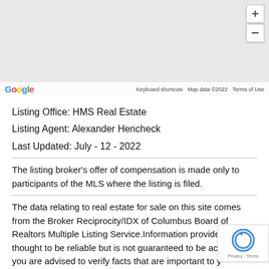[Figure (screenshot): Google Maps interface with zoom controls and map attribution footer showing Google logo, Keyboard shortcuts, Map data ©2022, and Terms of Use]
Listing Office: HMS Real Estate
Listing Agent: Alexander Hencheck
Last Updated: July - 12 - 2022
The listing broker's offer of compensation is made only to participants of the MLS where the listing is filed.
The data relating to real estate for sale on this site comes from the Broker Reciprocity/IDX of Columbus Board of Realtors Multiple Listing Service.Information provided is thought to be reliable but is not guaranteed to be accurate; you are advised to verify facts that are important to you. No warranties, expressed or implied, are provided for the data herein, or for their use or interpretation by the user. Columbus